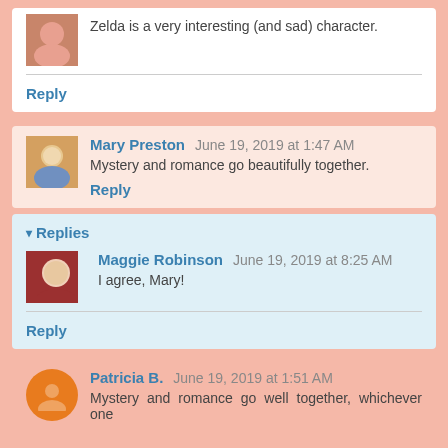Zelda is a very interesting (and sad) character.
Reply
Mary Preston  June 19, 2019 at 1:47 AM
Mystery and romance go beautifully together.
Reply
Replies
Maggie Robinson  June 19, 2019 at 8:25 AM
I agree, Mary!
Reply
Patricia B.  June 19, 2019 at 1:51 AM
Mystery and romance go well together, whichever one